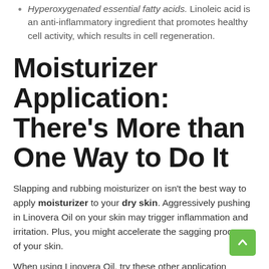Hyperoxygenated essential fatty acids. Linoleic acid is an anti-inflammatory ingredient that promotes healthy cell activity, which results in cell regeneration.
Moisturizer Application: There's More than One Way to Do It
Slapping and rubbing moisturizer on isn't the best way to apply moisturizer to your dry skin. Aggressively pushing in Linovera Oil on your skin may trigger inflammation and irritation. Plus, you might accelerate the sagging process of your skin.
When using Linovera Oil, try these other application